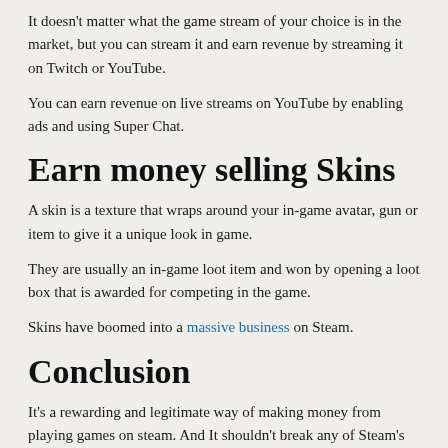It doesn't matter what the game stream of your choice is in the market, but you can stream it and earn revenue by streaming it on Twitch or YouTube.
You can earn revenue on live streams on YouTube by enabling ads and using Super Chat.
Earn money selling Skins
A skin is a texture that wraps around your in-game avatar, gun or item to give it a unique look in game.
They are usually an in-game loot item and won by opening a loot box that is awarded for competing in the game.
Skins have boomed into a massive business on Steam.
Conclusion
It's a rewarding and legitimate way of making money from playing games on steam. And It shouldn't break any of Steam's rules. If any of you reading this have the experience of making money on Steam, please share in the comment section. We'd love...